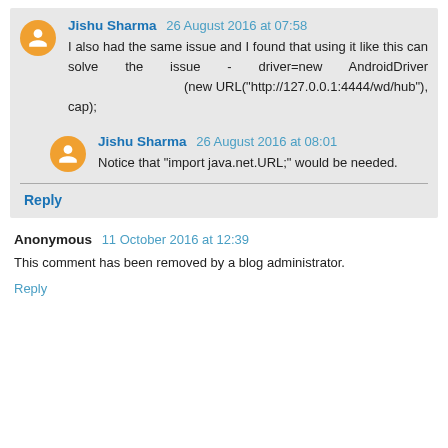Jishu Sharma 26 August 2016 at 07:58
I also had the same issue and I found that using it like this can solve the issue - driver=new AndroidDriver (new URL("http://127.0.0.1:4444/wd/hub"), cap);
Jishu Sharma 26 August 2016 at 08:01
Notice that "import java.net.URL;" would be needed.
Reply
Anonymous 11 October 2016 at 12:39
This comment has been removed by a blog administrator.
Reply